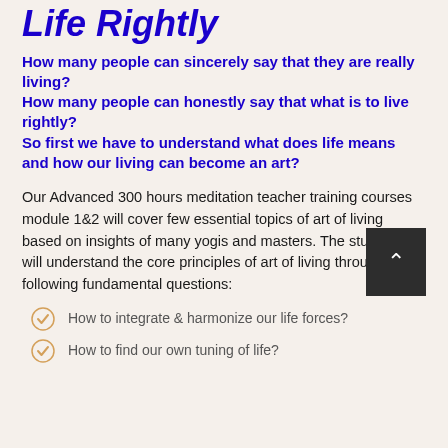Life Rightly
How many people can sincerely say that they are really living?
How many people can honestly say that what is to live rightly?
So first we have to understand what does life means and how our living can become an art?
Our Advanced 300 hours meditation teacher training courses module 1&2 will cover few essential topics of art of living based on insights of many yogis and masters. The students will understand the core principles of art of living through the following fundamental questions:
How to integrate & harmonize our life forces?
How to find our own tuning of life?